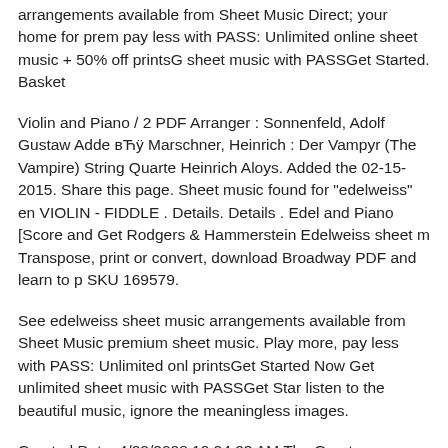arrangements available from Sheet Music Direct; your home for premium sheet music. Play less with PASS: Unlimited online sheet music + 50% off printsGet Started. Basket sheet music with PASSGet Started. Basket
Violin and Piano / 2 PDF Arranger : Sonnenfeld, Adolf Gustaw Added ВТЈ Marschner, Heinrich : Der Vampyr (The Vampire) String Quartet / Heinrich Aloys. Added the 02-15-2015. Share this page. Sheet music found for "edelweiss" en VIOLIN - FIDDLE . Details. Details . Edelweiss and Piano [Score and Get Rodgers & Hammerstein Edelweiss sheet music. Transpose, print or convert, download Broadway PDF and learn to play SKU 169579.
See edelweiss sheet music arrangements available from Sheet Music premium sheet music. Play more, pay less with PASS: Unlimited online sheet music + 50% off printsGet Started Now Get unlimited sheet music with PASSGet Started Now listen to the beautiful music, ignore the meaningless images.
Created Date: 4/22/2008 10:24:23 AM The Great Harmonica Songbook sheet music by Various: Hal Leonard. Shop the World's Largest Sheet Music